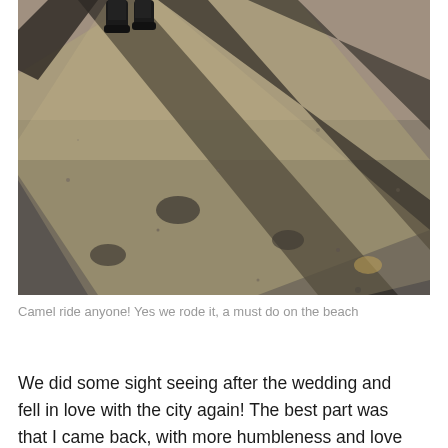[Figure (photo): Aerial/downward-looking photo of sandy wet beach ground with shadows cast diagonally across the sand. Camel hoofprints visible in the wet dark sand. Feet and legs visible at the top edge wearing dark shoes/boots.]
Camel ride anyone! Yes we rode it, a must do on the beach
We did some sight seeing after the wedding and fell in love with the city again! The best part was that I came back, with more humbleness and love in my heart.